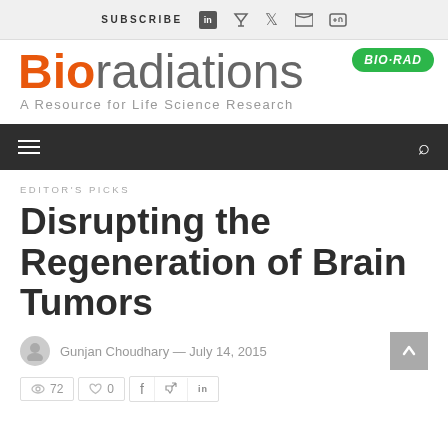SUBSCRIBE
Bioradiations — A Resource for Life Science Research
[Figure (logo): BIO-RAD green badge logo in top right]
EDITOR'S PICKS
Disrupting the Regeneration of Brain Tumors
Gunjan Choudhary — July 14, 2015
72 views, 0 likes, social sharing icons (Facebook, Twitter, LinkedIn)